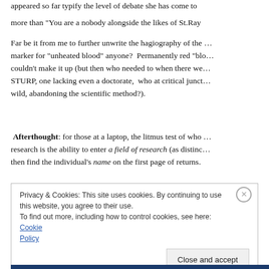appeared so far typify the level of debate she has come to more than "You are a nobody alongside the likes of St.Ray...
Far be it from me to further unwrite the hagiography of the ... marker for "unheated blood" anyone?  Permanently red "blo... couldn't make it up (but then who needed to when there we... STURP, one lacking even a doctorate,  who at critical junct... wild, abandoning the scientific method?).
Afterthought: for those at a laptop, the litmus test of who ... research is the ability to enter a field of research (as distinc... then find the individual's name on the first page of returns.
Privacy & Cookies: This site uses cookies. By continuing to use this website, you agree to their use.
To find out more, including how to control cookies, see here: Cookie Policy